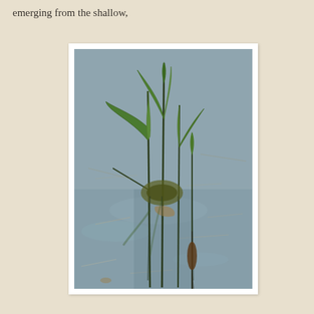emerging from the shallow,
[Figure (photo): Photograph of aquatic plants emerging from shallow water, with green leaves and stems visible above the water surface and their reflections visible below. A cattail or similar aquatic plant is seen at the bottom center.]